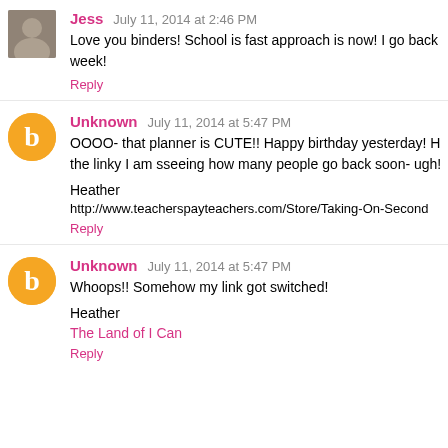Jess  July 11, 2014 at 2:46 PM
Love you binders! School is fast approach is now! I go back for pr- week!
Reply
Unknown  July 11, 2014 at 5:47 PM
OOOO- that planner is CUTE!! Happy birthday yesterday! Hope it ... the linky I am sseeing how many people go back soon- ugh! I don't l-
Heather
http://www.teacherspayteachers.com/Store/Taking-On-Second
Reply
Unknown  July 11, 2014 at 5:47 PM
Whoops!! Somehow my link got switched!
Heather
The Land of I Can
Reply